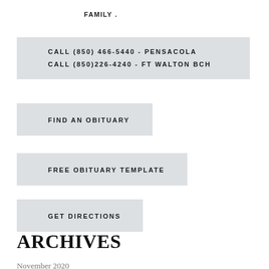FAMILY .
CALL (850) 466-5440 - PENSACOLA
CALL (850)226-4240 - FT WALTON BCH
FIND AN OBITUARY
FREE OBITUARY TEMPLATE
GET DIRECTIONS
ARCHIVES
November 2020
November 2019
July 2019